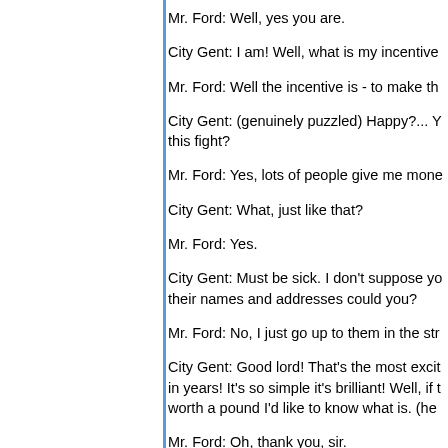Mr. Ford: Well, yes you are.
City Gent: I am! Well, what is my incentive
Mr. Ford: Well the incentive is - to make th
City Gent: (genuinely puzzled) Happy?... Y this fight?
Mr. Ford: Yes, lots of people give me mone
City Gent: What, just like that?
Mr. Ford: Yes.
City Gent: Must be sick. I don't suppose yo their names and addresses could you?
Mr. Ford: No, I just go up to them in the str
City Gent: Good lord! That's the most excit in years! It's so simple it's brilliant! Well, if t worth a pound I'd like to know what is. (he
Mr. Ford: Oh, thank you, sir.
City Gent: The only trouble is, you gave me given you the pound. And that's not good b